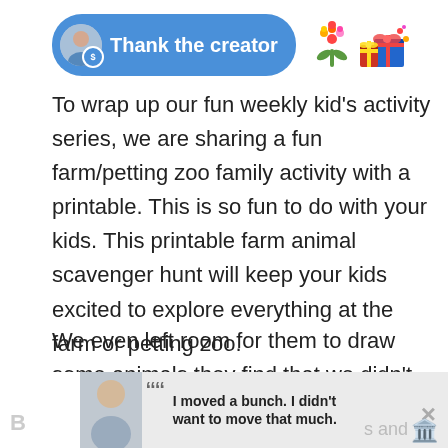[Figure (illustration): A blue pill-shaped 'Thank the creator' button with a user avatar and coin badge on the left, alongside two emoji icons (bouquet of flowers and a pile of gifts)]
To wrap up our fun weekly kid's activity series, we are sharing a fun farm/petting zoo family activity with a printable. This is so fun to do with your kids. This printable farm animal scavenger hunt will keep your kids excited to explore everything at the farm or petting zoo.
We even left room for them to draw some animals they find that we didn't include. I hope your kids enjoy it as much as mine did!
[Figure (other): Advertisement banner showing a teenage boy, a quote 'I moved a bunch. I didn't want to move that much.' with the Dave Thomas Foundation for Adoption logo and a close button]